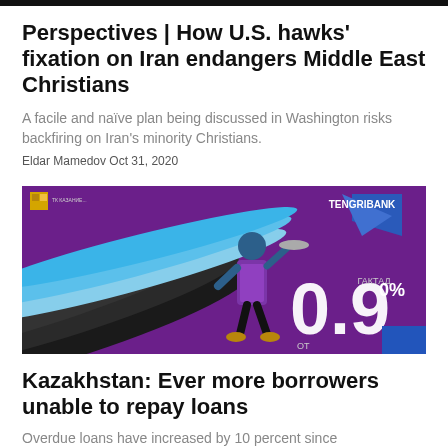Perspectives | How U.S. hawks' fixation on Iran endangers Middle East Christians
A facile and naïve plan being discussed in Washington risks backfiring on Iran's minority Christians.
Eldar Mamedov Oct 31, 2020
[Figure (photo): Advertisement banner for Tengri Bank featuring a running person in an apron holding a tray, with colorful curved shapes and the number 0.9 prominently displayed on a purple background.]
Kazakhstan: Ever more borrowers unable to repay loans
Overdue loans have increased by 10 percent since